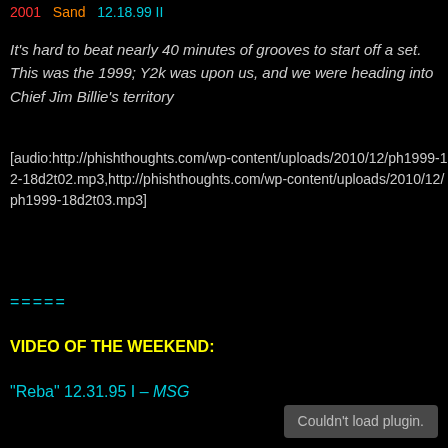2001 · Sand · 12.18.99 II
It's hard to beat nearly 40 minutes of grooves to start off a set. This was the 1999; Y2k was upon us, and we were heading into Chief Jim Billie's territory
[audio:http://phishthoughts.com/wp-content/uploads/2010/12/ph1999-12-18d2t02.mp3,http://phishthoughts.com/wp-content/uploads/2010/12/ph1999-18d2t03.mp3]
=====
VIDEO OF THE WEEKEND:
“Reba” 12.31.95 I – MSG
Couldn't load plugin.